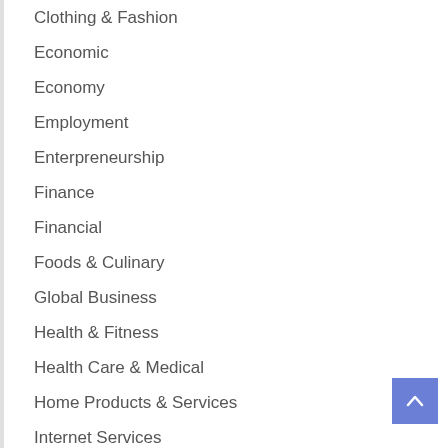Clothing & Fashion
Economic
Economy
Employment
Enterpreneurship
Finance
Financial
Foods & Culinary
Global Business
Health & Fitness
Health Care & Medical
Home Products & Services
Internet Services
Personal Product & Services
Pets & Animals